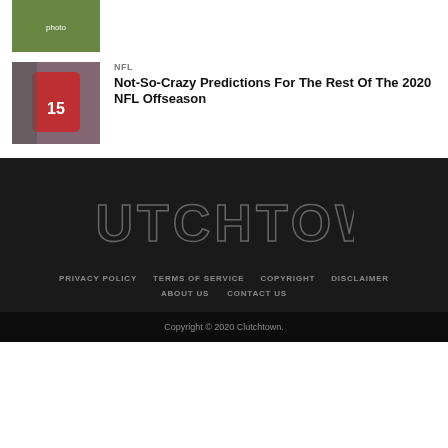[Figure (photo): Sports action photo thumbnail (top article, partially shown)]
[Figure (photo): NFL player wearing jersey number 15 (Kansas City Chiefs) with another player]
NFL
Not-So-Crazy Predictions For The Rest Of The 2020 NFL Offseason
[Figure (logo): CLUTCHTOWN logo text in outlined block letters on dark background]
PRIVACY POLICY   TERMS OF SERVICE   COPYRIGHT   DISCLAIMER   ABOUT US   CONTACT US
Copyright © 2020 Clutchtown.